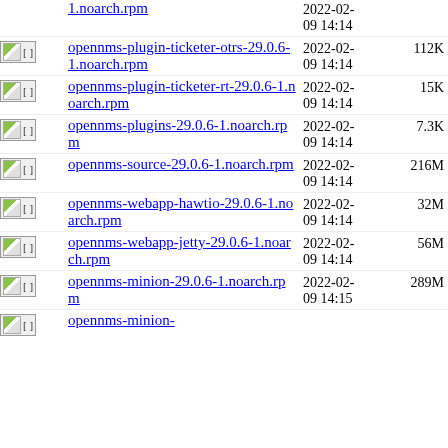1.noarch.rpm  2022-02-09 14:14  (top partial)
opennms-plugin-ticketer-otrs-29.0.6-1.noarch.rpm  2022-02-09 14:14  112K
opennms-plugin-ticketer-rt-29.0.6-1.noarch.rpm  2022-02-09 14:14  15K
opennms-plugins-29.0.6-1.noarch.rpm  2022-02-09 14:14  7.3K
opennms-source-29.0.6-1.noarch.rpm  2022-02-09 14:14  216M
opennms-webapp-hawtio-29.0.6-1.noarch.rpm  2022-02-09 14:14  32M
opennms-webapp-jetty-29.0.6-1.noarch.rpm  2022-02-09 14:14  56M
opennms-minion-29.0.6-1.noarch.rpm  2022-02-09 14:15  289M
opennms-minion- (partial, cut off)